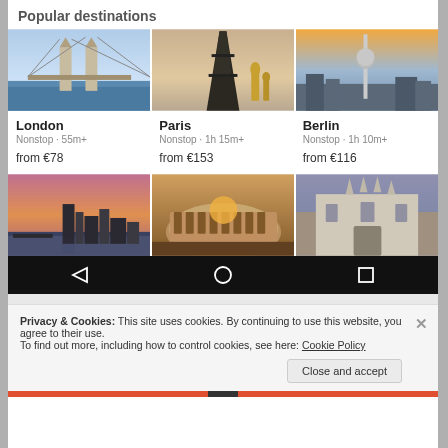Popular destinations
[Figure (photo): Three travel destination photos in a row: London Tower Bridge, Paris Eiffel Tower with golden statues, Berlin TV Tower cityscape]
London
Nonstop · 55m+

from €78
Paris
Nonstop · 1h 15m+

from €153
Berlin
Nonstop · 1h 10m+

from €116
[Figure (photo): Three travel destination photos: New York City skyline at sunset, Rome Colosseum at sunrise, Milan Cathedral]
Privacy & Cookies: This site uses cookies. By continuing to use this website, you agree to their use.
To find out more, including how to control cookies, see here: Cookie Policy
Close and accept